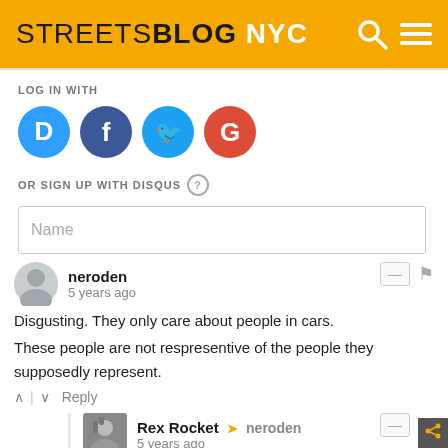STREETSBLOG NYC
LOG IN WITH
[Figure (infographic): Four social login icons: Disqus (blue), Facebook (dark blue), Twitter (light blue), Google (red)]
OR SIGN UP WITH DISQUS (?)
Name
neroden
5 years ago
Disgusting. They only care about people in cars.

These people are not respresentive of the people they supposedly represent.
Reply
Rex Rocket → neroden
5 years ago
Who exactly comprises the anti-bus anti-bike lane anti-